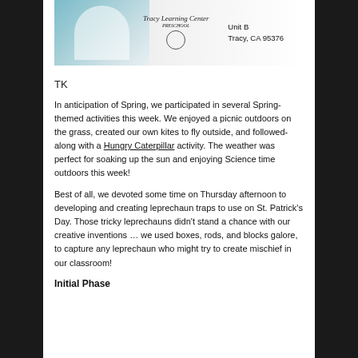[Figure (photo): Header image showing a Tracy Learning Center logo with cursive text and a circle design, address 'Unit B Tracy, CA 95376', and a partial photo of a person on the left side with teal/blue colors.]
TK
In anticipation of Spring, we participated in several Spring-themed activities this week. We enjoyed a picnic outdoors on the grass, created our own kites to fly outside, and followed-along with a Hungry Caterpillar activity. The weather was perfect for soaking up the sun and enjoying Science time outdoors this week!
Best of all, we devoted some time on Thursday afternoon to developing and creating leprechaun traps to use on St. Patrick’s Day. Those tricky leprechauns didn’t stand a chance with our creative inventions … we used boxes, rods, and blocks galore, to capture any leprechaun who might try to create mischief in our classroom!
Initial Phase